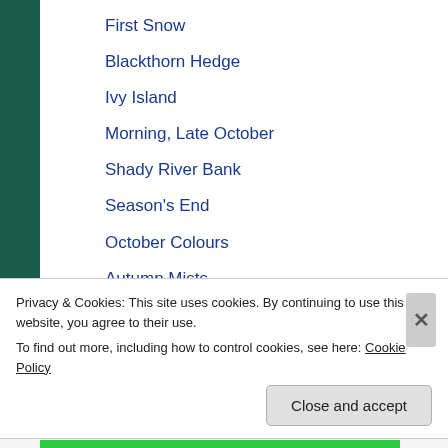First Snow
Blackthorn Hedge
Ivy Island
Morning, Late October
Shady River Bank
Season's End
October Colours
Autumn Mists
Late Harvest
Straw Fields
September Evening
Late August
Privacy & Cookies: This site uses cookies. By continuing to use this website, you agree to their use.
To find out more, including how to control cookies, see here: Cookie Policy